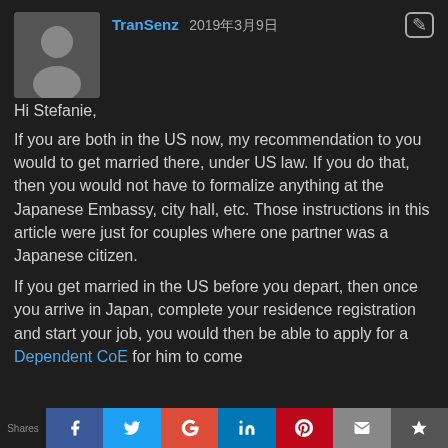[Figure (illustration): User avatar placeholder — gray silhouette of a person on a dark gray background]
TranSenz 2019年3月9日
Hi Stefanie,
If you are both in the US now, my recommendation to you would to get married there, under US law. If you do that, then you would not have to formalize anything at the Japanese Embassy, city hall, etc. Those instructions in this article were just for couples where one partner was a Japanese citizen.
If you get married in the US before you depart, then once you arrive in Japan, complete your residence registration and start your job, you would then be able to apply for a Dependent CoE for him to come…